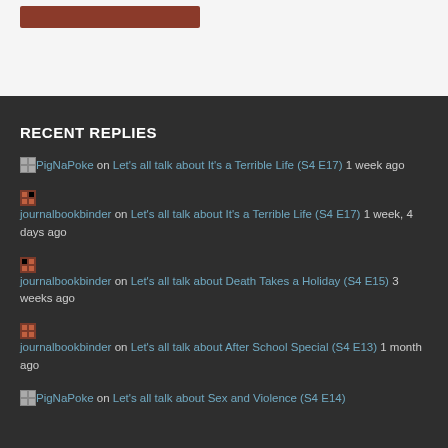[Figure (other): Top white panel with a dark red/brown button element]
RECENT REPLIES
PigNaPoke on Let's all talk about It's a Terrible Life (S4 E17) 1 week ago
journalbookbinder on Let's all talk about It's a Terrible Life (S4 E17) 1 week, 4 days ago
journalbookbinder on Let's all talk about Death Takes a Holiday (S4 E15) 3 weeks ago
journalbookbinder on Let's all talk about After School Special (S4 E13) 1 month ago
PigNaPoke on Let's all talk about Sex and Violence (S4 E14)